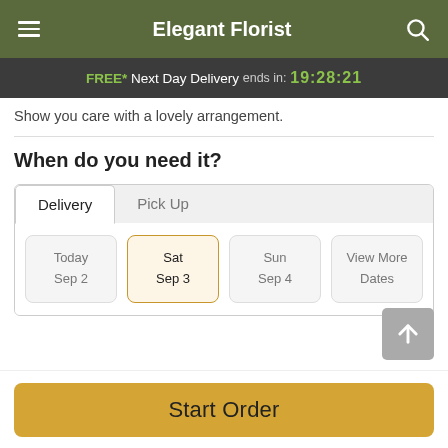Elegant Florist
FREE* Next Day Delivery ends in: 19:28:21
Show you care with a lovely arrangement.
When do you need it?
Delivery | Pick Up
Today Sep 2 | Sat Sep 3 | Sun Sep 4 | View More Dates
Guaranteed SAFE Checkout
Start Order